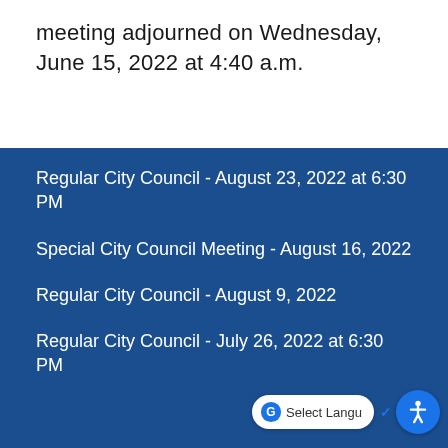meeting adjourned on Wednesday, June 15, 2022 at 4:40 a.m.
Regular City Council - August 23, 2022 at 6:30 PM
Special City Council Meeting - August 16, 2022
Regular City Council - August 9, 2022
Regular City Council - July 26, 2022 at 6:30 PM